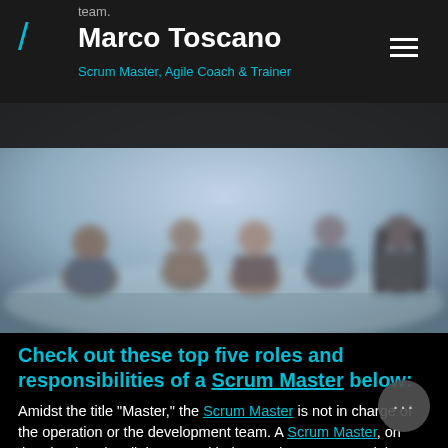team. Marco Toscano — Scrum Master, Agile Coach & Trainer
[Figure (photo): Blurred photo of a group of people sitting together in a casual meeting or discussion, slightly out of focus]
Check out these top five roles and responsibilities of a Scrum Master below:
Amidst the title "Master," the Scrum Master is not in charge of the operation or the development team. A Scrum Master, on the other hand, collaborates with the Product Owner and the Scrum Team to refine and